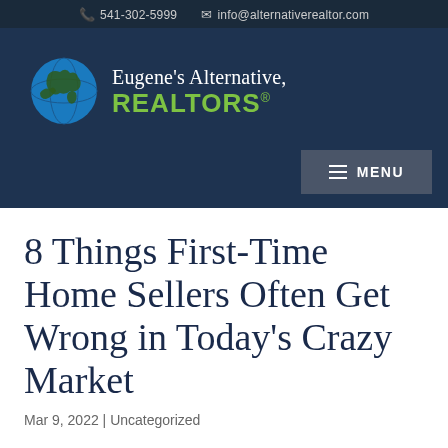541-302-5999   info@alternativerealtor.com
[Figure (logo): Eugene's Alternative, REALTORS logo with globe icon]
8 Things First-Time Home Sellers Often Get Wrong in Today's Crazy Market
Mar 9, 2022 | Uncategorized